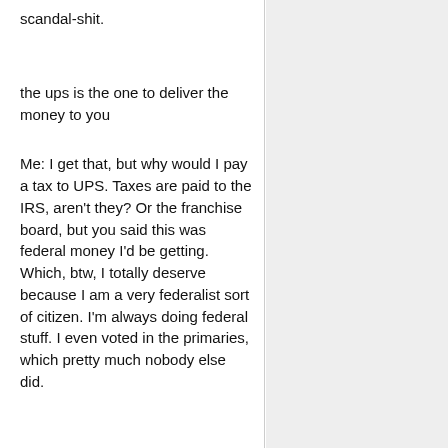scandal-shit.
the ups is the one to deliver the money to you
Me: I get that, but why would I pay a tax to UPS. Taxes are paid to the IRS, aren't they? Or the franchise board, but you said this was federal money I'd be getting.
Which, btw, I totally deserve because I am a very federalist sort of citizen. I'm always doing federal stuff. I even voted in the primaries, which pretty much nobody else did.